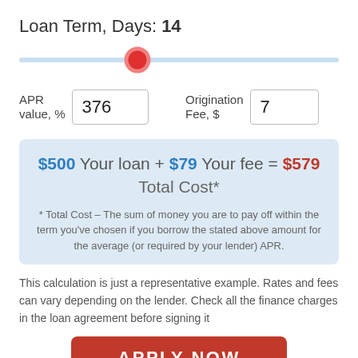Loan Term, Days: 14
[Figure (other): Horizontal slider with red circular thumb positioned roughly at 36% from left, on a light blue track]
APR value, %   376        Origination Fee, $   7
$500 Your loan + $79 Your fee = $579 Total Cost*
* Total Cost – The sum of money you are to pay off within the term you've chosen if you borrow the stated above amount for the average (or required by your lender) APR.
This calculation is just a representative example. Rates and fees can vary depending on the lender. Check all the finance charges in the loan agreement before signing it
APPLY NOW